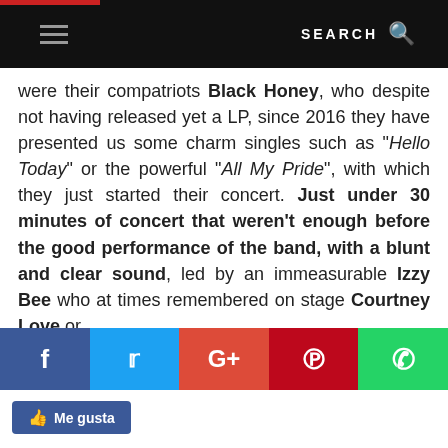SEARCH
were their compatriots Black Honey, who despite not having released yet a LP, since 2016 they have presented us some charm singles such as "Hello Today" or the powerful "All My Pride", with which they just started their concert. Just under 30 minutes of concert that weren't enough before the good performance of the band, with a blunt and clear sound, led by an immeasurable Izzy Bee who at times remembered on stage Courtney Love or [cut off]